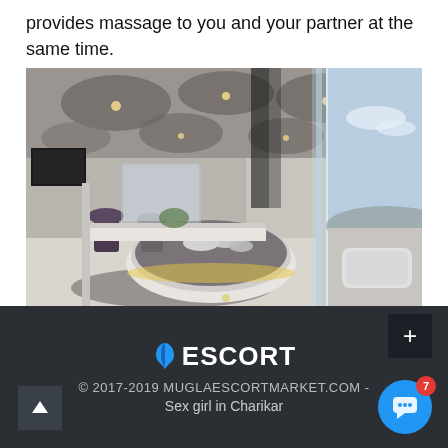provides massage to you and your partner at the same time.
[Figure (photo): Luxury hotel room interior with futuristic oval ceiling design, round bed platform, glass partition, bar stools, and panoramic view from an outdoor terrace]
ESCORT © 2017-2019 MUGLAESCORTMARKET.COM - Sex girl in Charikar